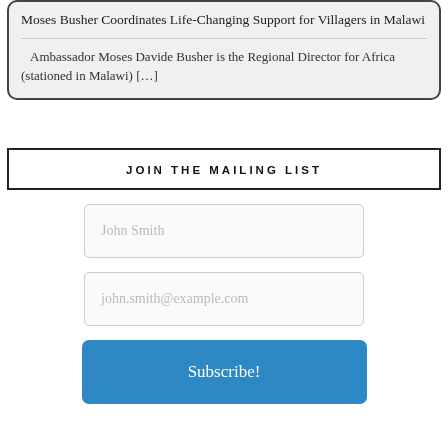Moses Busher Coordinates Life-Changing Support for Villagers in Malawi
Ambassador Moses Davide Busher is the Regional Director for Africa (stationed in Malawi) […]
JOIN THE MAILING LIST
John Smith
john.smith@example.com
Subscribe!